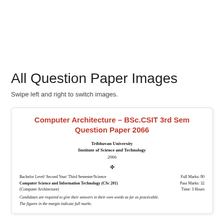All Question Paper Images
Swipe left and right to switch images.
Computer Architecture – BSc.CSIT 3rd Sem Question Paper 2066
Tribhuvan University
Institute of Science and Technology
2066
✤
Bachelor Level/ Second Year/ Third Semester/Science
Computer Science and Information Technology (CSc 201)
(Computer Architecture)
Full Marks: 80
Pass Marks: 32
Time: 3 Hours
Candidates are required to give their answers in their own words as far as practicable.
The figures in the margin indicate full marks.